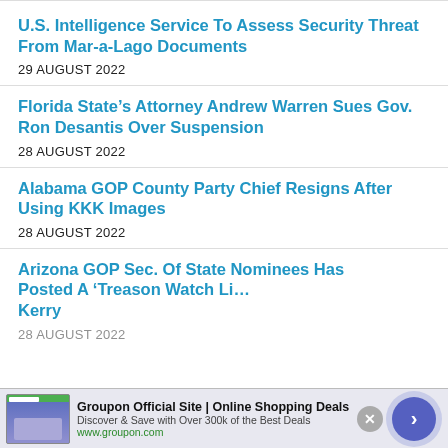U.S. Intelligence Service To Assess Security Threat From Mar-a-Lago Documents
29 AUGUST 2022
Florida State’s Attorney Andrew Warren Sues Gov. Ron Desantis Over Suspension
28 AUGUST 2022
Alabama GOP County Party Chief Resigns After Using KKK Images
28 AUGUST 2022
Arizona GOP Sec. Of State Nominee Has Posted A ‘Treason Watch Li… Kerry
28 AUGUST 2022
[Figure (screenshot): AliExpress BestSelling advertisement popup with orange background, shopping cart graphic, and 'Shop Now' button]
[Figure (screenshot): Groupon Official Site Online Shopping Deals advertisement bar with site preview image, description text 'Discover & Save with Over 300k of the Best Deals', URL www.groupon.com, close button, and arrow navigation button]